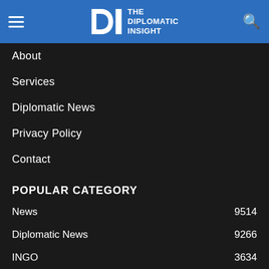The Diplomatic Insight
About
Services
Diplomatic News
Privacy Policy
Contact
POPULAR CATEGORY
News  9514
Diplomatic News  9266
INGO  3634
Ambassadors  2032
Foreign Ministers  1...